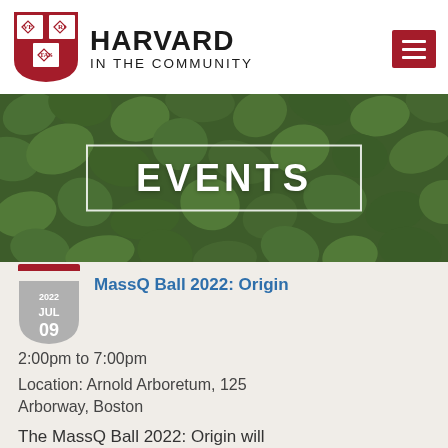[Figure (logo): Harvard shield logo in crimson red with VERITAS text]
HARVARD IN THE COMMUNITY
[Figure (photo): Green ivy leaves background with EVENTS text overlay in white inside a white-bordered rectangle]
MassQ Ball 2022: Origin
2:00pm to 7:00pm
Location: Arnold Arboretum, 125 Arborway, Boston
The MassQ Ball 2022: Origin will feature the diverse artistic